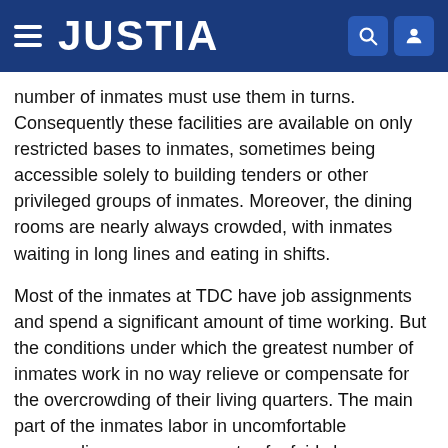JUSTIA
number of inmates must use them in turns. Consequently these facilities are available on only restricted bases to inmates, sometimes being accessible solely to building tenders or other privileged groups of inmates. Moreover, the dining rooms are nearly always crowded, with inmates waiting in long lines and eating in shifts.
Most of the inmates at TDC have job assignments and spend a significant amount of time working. But the conditions under which the greatest number of inmates work in no way relieve or compensate for the overcrowding of their living quarters. The main part of the inmates labor in uncomfortable surroundings, as components of a fairly large group. To illustrate, in the agricultural jobs, inmates are assigned to squads that must move down the field in unison, performing